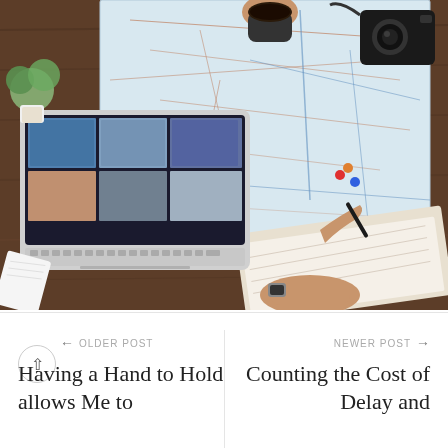[Figure (photo): Overhead view of a travel planning scene: a large paper map spread on a wooden desk with colorful pins, a hand marking the map with a pen, a MacBook laptop showing a photo grid, a coffee cup held in one hand, an open notebook being written in, a camera, and green plant — travel planning flatlay.]
← OLDER POST
Having a Hand to Hold allows Me to
NEWER POST →
Counting the Cost of Delay and